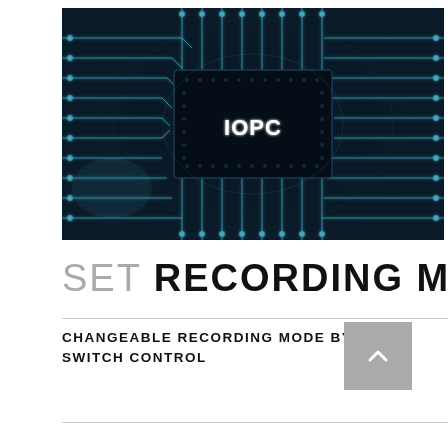[Figure (photo): Close-up photograph of a circuit board with glowing teal/blue circuit traces and a dark central chip labeled 'IOPC']
SET RECORDING MODE
CHANGEABLE RECORDING MODE BY SWITCH CONTROL